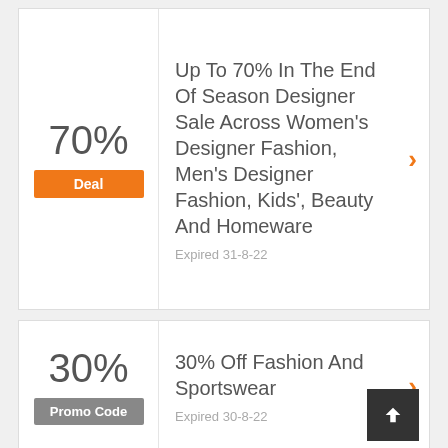70%
Deal
Up To 70% In The End Of Season Designer Sale Across Women's Designer Fashion, Men's Designer Fashion, Kids', Beauty And Homeware
Expired 31-8-22
30%
Promo Code
30% Off Fashion And Sportswear
Expired 30-8-22
40%
Up To 40% On Some Orders